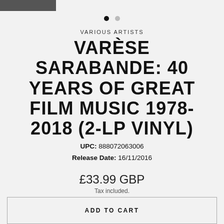VARIOUS ARTISTS
VARÈSE SARABANDE: 40 YEARS OF GREAT FILM MUSIC 1978-2018 (2-LP VINYL)
UPC: 888072063006
Release Date: 16/11/2016
£33.99 GBP
Tax included.
In stock, ready to ship
ADD TO CART